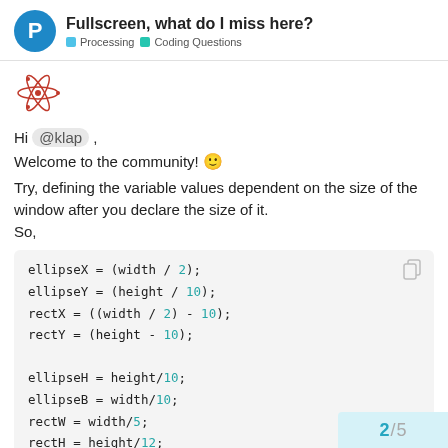Fullscreen, what do I miss here? | Processing | Coding Questions
[Figure (illustration): Atom/electron orbit icon in red, representing the Processing community forum user avatar]
Hi @klap ,
Welcome to the community! 🙂
Try, defining the variable values dependent on the size of the window after you declare the size of it.
So,
ellipseX = (width / 2);
ellipseY = (height / 10);
rectX = ((width / 2) - 10);
rectY = (height - 10);

ellipseH = height/10;
ellipseB = width/10;
rectW = width/5;
rectH = height/12;
2 / 5